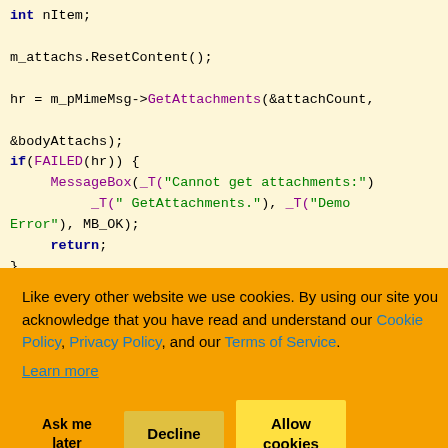Code snippet showing C++ MIME attachment handling with m_attachs.ResetContent(), hr = m_pMimeMsg->GetAttachments(&attachCount, &bodyAttachs), error handling with MessageBox and return, and loop code with bodyAttachs[j]
Cookie consent overlay: Like every other website we use cookies. By using our site you acknowledge that you have read and understand our Cookie Policy, Privacy Policy, and our Terms of Service. Learn more. Buttons: Ask me later, Decline, Allow cookies